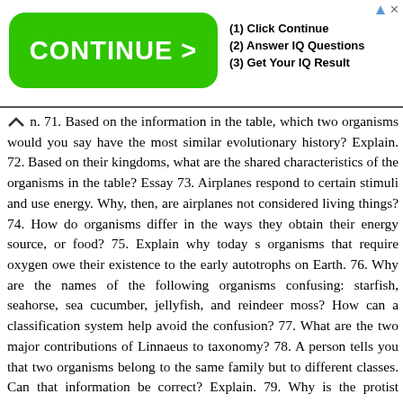[Figure (other): Advertisement banner with green CONTINUE > button and IQ quiz steps]
n. 71. Based on the information in the table, which two organisms would you say have the most similar evolutionary history? Explain. 72. Based on their kingdoms, what are the shared characteristics of the organisms in the table? Essay 73. Airplanes respond to certain stimuli and use energy. Why, then, are airplanes not considered living things? 74. How do organisms differ in the ways they obtain their energy source, or food? 75. Explain why today s organisms that require oxygen owe their existence to the early autotrophs on Earth. 76. Why are the names of the following organisms confusing: starfish, seahorse, sea cucumber, jellyfish, and reindeer moss? How can a classification system help avoid the confusion? 77. What are the two major contributions of Linnaeus to taxonomy? 78. A person tells you that two organisms belong to the same family but to different classes. Can that information be correct? Explain. 79. Why is the protist kingdom sometimes called the odds and ends kingdom? 80. Imagine a planet with an atmosphere like Earth s atmosphere 3.6